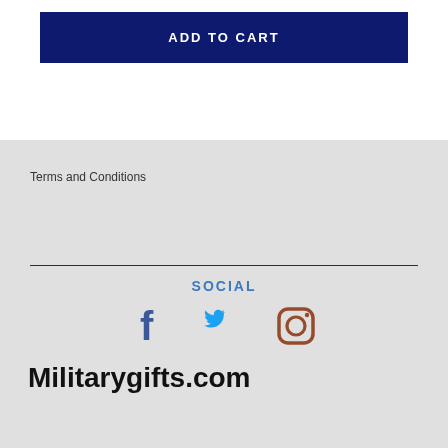ADD TO CART
Terms and Conditions
SOCIAL
[Figure (illustration): Social media icons: Facebook (blue f), Twitter (light blue bird), Instagram (brown camera)]
Militarygifts.com